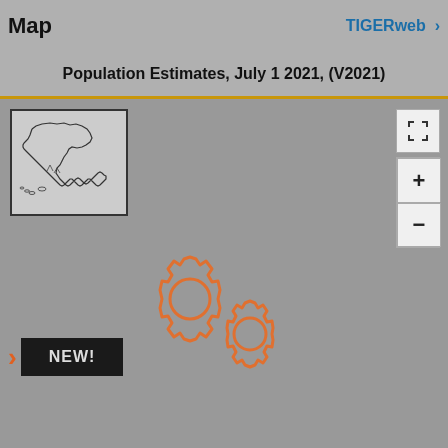Map
TIGERweb >
Population Estimates, July 1 2021, (V2021)
[Figure (map): Small thumbnail map showing the outline of Alaska state]
[Figure (infographic): Two orange gear/cog icons indicating map is loading or processing]
NEW!